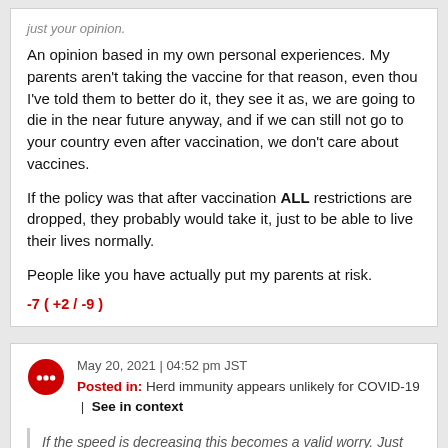just your opinion.
An opinion based in my own personal experiences. My parents aren't taking the vaccine for that reason, even thou I've told them to better do it, they see it as, we are going to die in the near future anyway, and if we can still not go to your country even after vaccination, we don't care about vaccines.
If the policy was that after vaccination ALL restrictions are dropped, they probably would take it, just to be able to live their lives normally.
People like you have actually put my parents at risk.
-7 ( +2 / -9 )
May 20, 2021 | 04:52 pm JST
Posted in: Herd immunity appears unlikely for COVID-19 | See in context
If the speed is decreasing this becomes a valid worry. Just graph the number of new vaccinations over each day and graph the trendline, how long will it take to reach the theoretical levels of herd